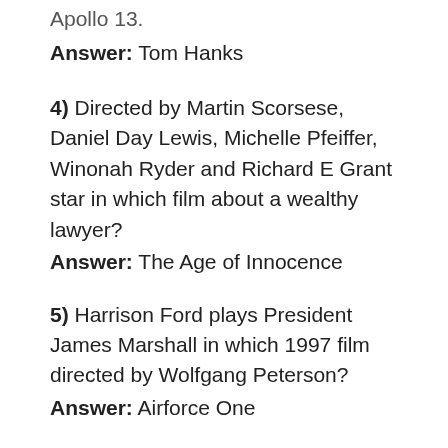Apollo 13. Answer: Tom Hanks
4) Directed by Martin Scorsese, Daniel Day Lewis, Michelle Pfeiffer, Winonah Ryder and Richard E Grant star in which film about a wealthy lawyer? Answer: The Age of Innocence
5) Harrison Ford plays President James Marshall in which 1997 film directed by Wolfgang Peterson? Answer: Airforce One
6) Who plays Lester Burnham in the 1999 film American Beauty? Answer: Kevin Spacey
7) Who plays Angela in the 1999 film